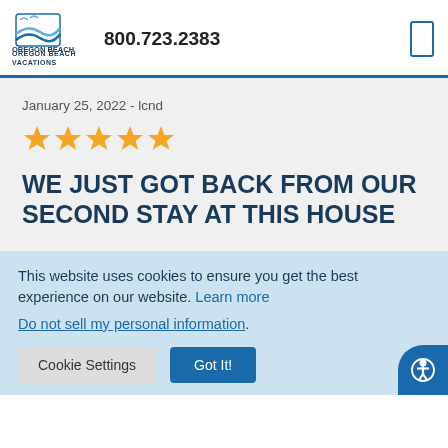Oregon Beach Vacations | 800.723.2383
January 25, 2022 - lcnd
[Figure (other): Five gold star rating icons]
WE JUST GOT BACK FROM OUR SECOND STAY AT THIS HOUSE
This website uses cookies to ensure you get the best experience on our website. Learn more
Do not sell my personal information.
Cookie Settings  Got It!